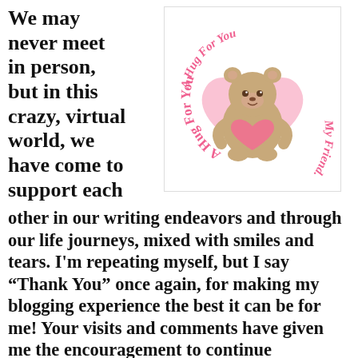We may never meet in person, but in this crazy, virtual world, we have come to support each
[Figure (illustration): A cute teddy bear sitting on a pink heart, hugging a smaller pink heart. Surrounding text in pink handwritten style reads 'A Hug For You My Friend.']
other in our writing endeavors and through our life journeys, mixed with smiles and tears. I'm repeating myself, but I say “Thank You” once again, for making my blogging experience the best it can be for me! Your visits and comments have given me the encouragement to continue